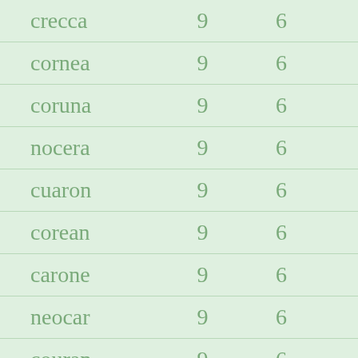| crecca | 9 | 6 |
| cornea | 9 | 6 |
| coruna | 9 | 6 |
| nocera | 9 | 6 |
| cuaron | 9 | 6 |
| corean | 9 | 6 |
| carone | 9 | 6 |
| neocar | 9 | 6 |
| couran | 9 | 6 |
| cernua | 9 | 6 |